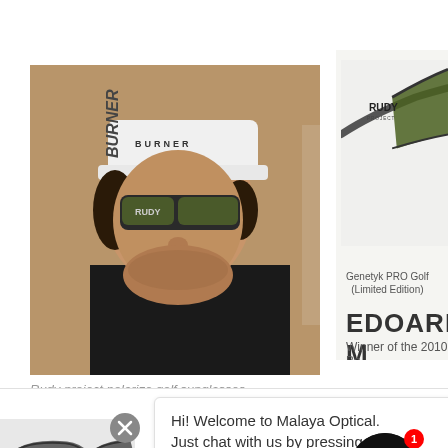[Figure (photo): Close-up photo of a male golfer wearing a white BURNER cap and Rudy Project sunglasses, looking to the side. The man is wearing a black shirt.]
[Figure (photo): Rudy Project Genetyk PRO Golf Limited Edition sunglasses product image on light background with RUDY brand name visible]
Rudy project polarize golf sunglasses
Genetyk PRO Golf (Limited Edition)
EDOARDO M
Winner of the 2010 Ba
Hi! Welcome to Malaya Optical. Just chat with us by pressing the buttons 😊